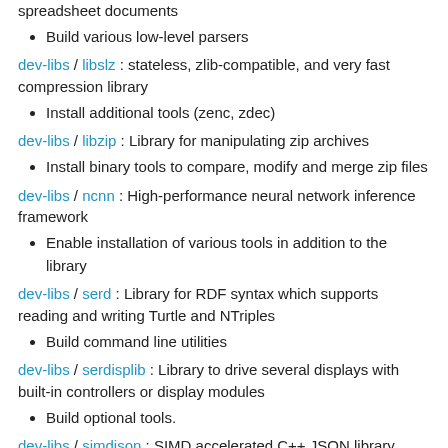spreadsheet documents
Build various low-level parsers
dev-libs / libslz : stateless, zlib-compatible, and very fast compression library
Install additional tools (zenc, zdec)
dev-libs / libzip : Library for manipulating zip archives
Install binary tools to compare, modify and merge zip files
dev-libs / ncnn : High-performance neural network inference framework
Enable installation of various tools in addition to the library
dev-libs / serd : Library for RDF syntax which supports reading and writing Turtle and NTriples
Build command line utilities
dev-libs / serdisplib : Library to drive several displays with built-in controllers or display modules
Build optional tools.
dev-libs / simdison : SIMD accelerated C++ JSON library